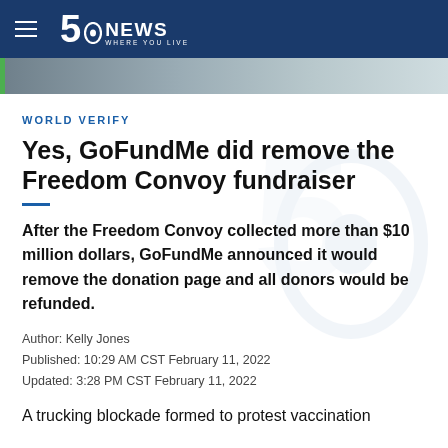5 NEWS WHERE YOU LIVE
[Figure (photo): Photo strip / banner image at top of article page]
WORLD VERIFY
Yes, GoFundMe did remove the Freedom Convoy fundraiser
After the Freedom Convoy collected more than $10 million dollars, GoFundMe announced it would remove the donation page and all donors would be refunded.
Author: Kelly Jones
Published: 10:29 AM CST February 11, 2022
Updated: 3:28 PM CST February 11, 2022
A trucking blockade formed to protest vaccination